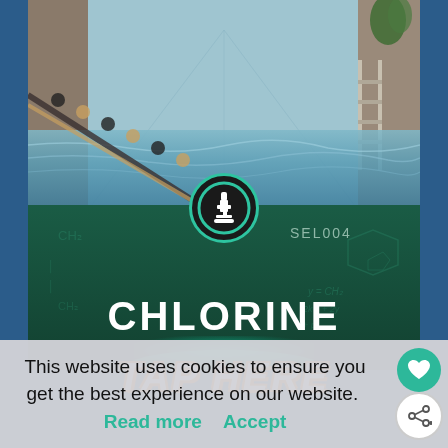[Figure (photo): Screenshot of a website showing an indoor swimming pool with lane dividers, overlaid with a dark green banner reading CHLORINE with a microscope badge icon and SEL004 code. Below the image a TAP HERE prompt is partially visible. A cookie consent banner overlays the bottom of the image.]
This website uses cookies to ensure you get the best experience on our website.  Read more    Accept